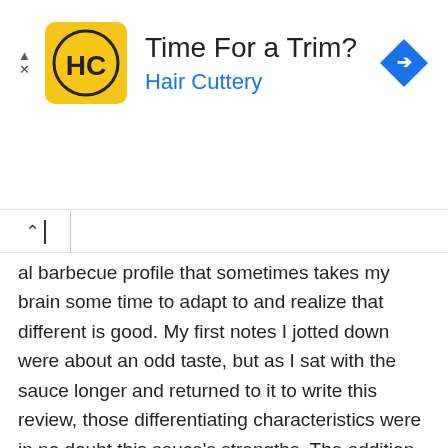[Figure (other): Hair Cuttery advertisement banner with yellow logo showing HC initials, text 'Time For a Trim?' and 'Hair Cuttery' in blue, blue diamond navigation arrow icon on right, and close/ad controls on left.]
al barbecue profile that sometimes takes my brain some time to adapt to and realize that different is good. My first notes I jotted down were about an odd taste, but as I sat with the sauce longer and returned to it to write this review, those differentiating characteristics were in no doubt this sauce's strengths. The addition of celery seed and cumin both lend notable flavor differences compared to your average sauce, while the intensity of tang means you've venture out of standard sweet sauce territory. While this strong flavor means it can hold up against the most flavorful of meats, like burgers and brisket, it wasn't so heavy handed that it